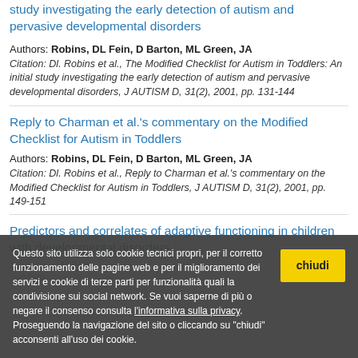study investigating the early detection of autism and pervasive developmental disorders
Authors: Robins, DL Fein, D Barton, ML Green, JA
Citation: Dl. Robins et al., The Modified Checklist for Autism in Toddlers: An initial study investigating the early detection of autism and pervasive developmental disorders, J AUTISM D, 31(2), 2001, pp. 131-144
Reply to Charman et al.'s commentary on the Modified Checklist for Autism in Toddlers
Authors: Robins, DL Fein, D Barton, ML Green, JA
Citation: Dl. Robins et al., Reply to Charman et al.'s commentary on the Modified Checklist for Autism in Toddlers, J AUTISM D, 31(2), 2001, pp. 149-151
Predictors and correlates of adaptive functioning in children with developmental disorders
Authors: ... M Fein...
Questo sito utilizza solo cookie tecnici propri, per il corretto funzionamento delle pagine web e per il miglioramento dei servizi e cookie di terze parti per funzionalità quali la condivisione sui social network. Se vuoi saperne di più o negare il consenso consulta l'informativa sulla privacy. Proseguendo la navigazione del sito o cliccando su "chiudi" acconsenti all'uso dei cookie.